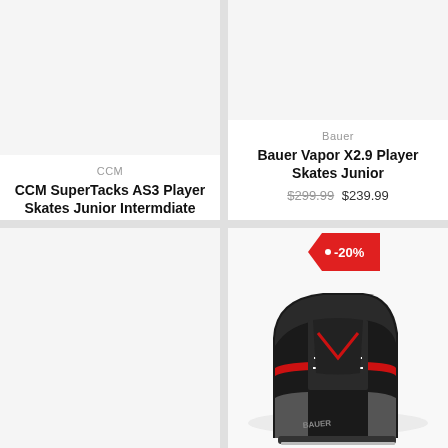[Figure (photo): Product image placeholder for CCM SuperTacks AS3 skates (light gray background, empty)]
CCM
CCM SuperTacks AS3 Player Skates Junior Intermdiate
$519.99
[Figure (photo): Product image placeholder for Bauer Vapor X2.9 skates (light gray background, empty)]
Bauer
Bauer Vapor X2.9 Player Skates Junior
$299.99 $239.99
[Figure (photo): Empty product image area (bottom left card, light gray)]
[Figure (photo): Hockey ice skates photo — Bauer Vapor X2.9 player skates, black with red accents, shown from a low angle on white background. Discount tag showing -20% overlaid on top.]